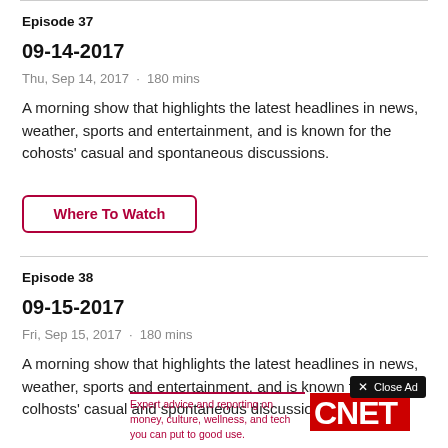Episode 37
09-14-2017
Thu, Sep 14, 2017  ·  180 mins
A morning show that highlights the latest headlines in news, weather, sports and entertainment, and is known for the cohosts' casual and spontaneous discussions.
Where To Watch
Episode 38
09-15-2017
Fri, Sep 15, 2017  ·  180 mins
A morning show that highlights the latest h... news, w... vn for the col...